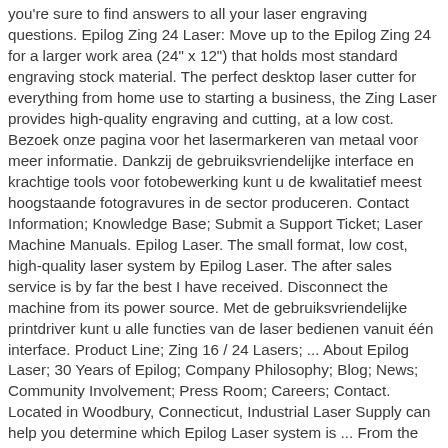you're sure to find answers to all your laser engraving questions. Epilog Zing 24 Laser: Move up to the Epilog Zing 24 for a larger work area (24" x 12") that holds most standard engraving stock material. The perfect desktop laser cutter for everything from home use to starting a business, the Zing Laser provides high-quality engraving and cutting, at a low cost. Bezoek onze pagina voor het lasermarkeren van metaal voor meer informatie. Dankzij de gebruiksvriendelijke interface en krachtige tools voor fotobewerking kunt u de kwalitatief meest hoogstaande fotogravures in de sector produceren. Contact Information; Knowledge Base; Submit a Support Ticket; Laser Machine Manuals. Epilog Laser. The small format, low cost, high-quality laser system by Epilog Laser. The after sales service is by far the best I have received. Disconnect the machine from its power source. Met de gebruiksvriendelijke printdriver kunt u alle functies van de laser bedienen vanuit één interface. Product Line; Zing 16 / 24 Lasers; ... About Epilog Laser; 30 Years of Epilog; Company Philosophy; Blog; News; Community Involvement; Press Room; Careers; Contact. Located in Woodbury, Connecticut, Industrial Laser Supply can help you determine which Epilog Laser system is ... From the seller: " I bought this engraver new a few years ago and only used it a few times. Epilog Zing Laser Series. Epilog Zing Laser Engraver. Menu Suche. Zusatzinformation